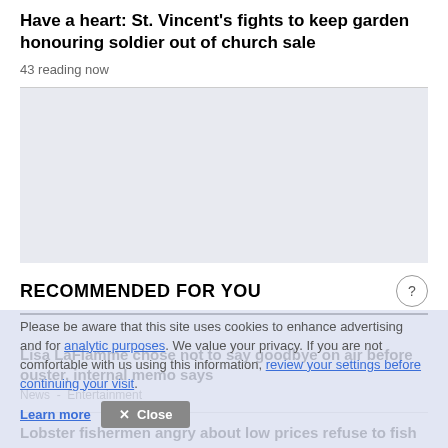Have a heart: St. Vincent's fights to keep garden honouring soldier out of church sale
43 reading now
RECOMMENDED FOR YOU
Lisa LaFlamme chose not to say goodbye on air before ouster, internal memo says
News - Entertainment
Lobster fishermen angry about low prices refuse to fish
Prapti Bamaniya
News - Canada - New Brunswick